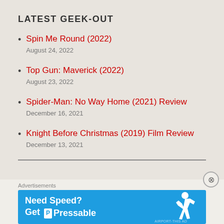LATEST GEEK-OUT
Spin Me Round (2022)
August 24, 2022
Top Gun: Maverick (2022)
August 23, 2022
Spider-Man: No Way Home (2021) Review
December 16, 2021
Knight Before Christmas (2019) Film Review
December 13, 2021
[Figure (infographic): Advertisement banner with blue background reading 'Need Speed? Get Pressable' with a running figure illustration and Pressable logo]
Advertisements